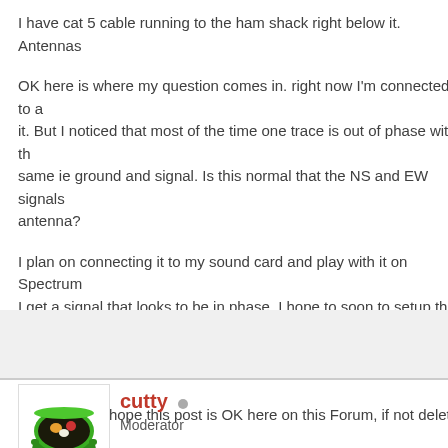I have cat 5 cable running to the ham shack right below it. Antennas ...
OK here is where my question comes in. right now I'm connected to a ... it. But I noticed that most of the time one trace is out of phase with th... same ie ground and signal. Is this normal that the NS and EW signals... antenna?
I plan on connecting it to my sound card and play with it on Spectrum... I get a signal that looks to be in phase. I hope to soon to setup the sy... write some software to use this setup as a portable system I can use...
Thanks and I hope this post is OK here on this Forum, if not delete a... watching the Biltzortung real time maps and I have to say Wow! what... Bill Verstelle
cutty
Moderator
2016-01-30, 09:38 (This post was last modified: 2016-01-30, 10:12 by cutty.)